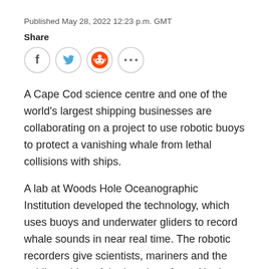Published May 28, 2022 12:23 p.m. GMT
Share
[Figure (other): Social share buttons: Facebook, Twitter, Reddit, and more options (ellipsis)]
A Cape Cod science centre and one of the world's largest shipping businesses are collaborating on a project to use robotic buoys to protect a vanishing whale from lethal collisions with ships.
A lab at Woods Hole Oceanographic Institution developed the technology, which uses buoys and underwater gliders to record whale sounds in near real time. The robotic recorders give scientists, mariners and the public an idea of the location of rare North Atlantic right whales,